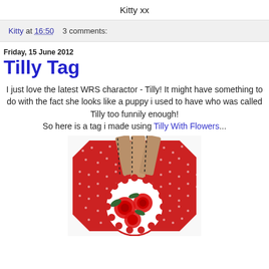Kitty xx
Kitty at 16:50   3 comments:
Friday, 15 June 2012
Tilly Tag
I just love the latest WRS charactor - Tilly! It might have something to do with the fact she looks like a puppy i used to have who was called Tilly too funnily enough!
So here is a tag i made using Tilly With Flowers...
[Figure (photo): Handmade tag craft project featuring red polka dot fabric background, brown kraft card strips with black stitching, and a circular embellishment with red roses on white background.]